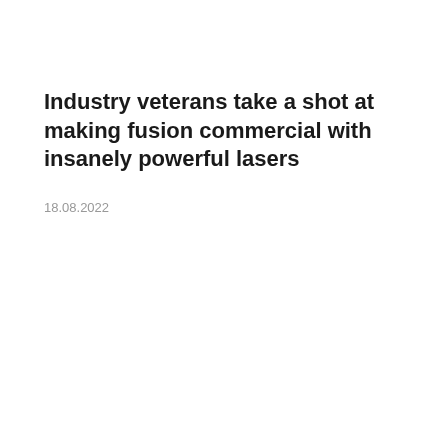Industry veterans take a shot at making fusion commercial with insanely powerful lasers
18.08.2022